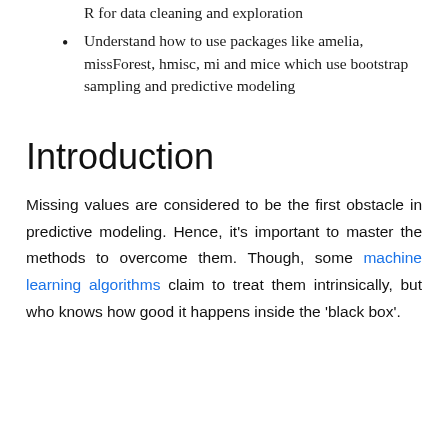R for data cleaning and exploration
Understand how to use packages like amelia, missForest, hmisc, mi and mice which use bootstrap sampling and predictive modeling
Introduction
Missing values are considered to be the first obstacle in predictive modeling. Hence, it's important to master the methods to overcome them. Though, some machine learning algorithms claim to treat them intrinsically, but who knows how good it happens inside the 'black box'.